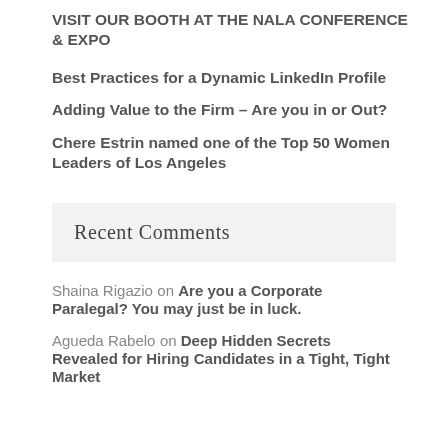VISIT OUR BOOTH AT THE NALA CONFERENCE & EXPO
Best Practices for a Dynamic LinkedIn Profile
Adding Value to the Firm – Are you in or Out?
Chere Estrin named one of the Top 50 Women Leaders of Los Angeles
Recent Comments
Shaina Rigazio on Are you a Corporate Paralegal? You may just be in luck.
Agueda Rabelo on Deep Hidden Secrets Revealed for Hiring Candidates in a Tight, Tight Market